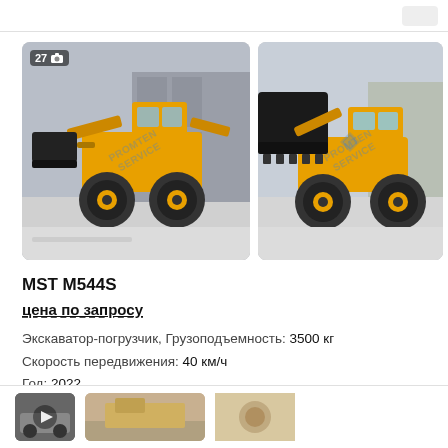[Figure (photo): Yellow backhoe loader MST M544S photographed from the front-left angle in an industrial yard, with PROMTEN SERVICE watermark]
[Figure (photo): Yellow backhoe loader MST M544S photographed from the front showing the bucket, with PROMTEN SERVICE watermark]
MST M544S
цена по запросу
Экскаватор-погрузчик, Грузоподъемность: 3500 кг
Скорость передвижения: 40 км/ч
Год: 2022
Украина, м.Київ